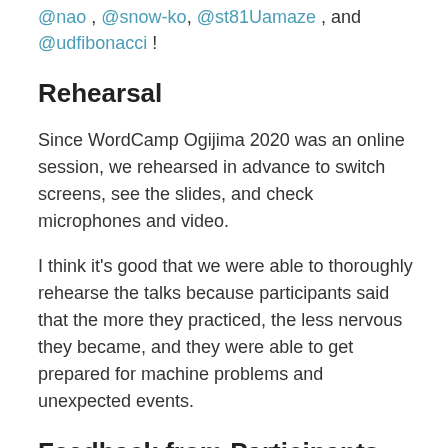@nao , @snow-ko, @st81Uamaze , and @udfibonacci !
Rehearsal
Since WordCamp Ogijima 2020 was an online session, we rehearsed in advance to switch screens, see the slides, and check microphones and video.
I think it's good that we were able to thoroughly rehearse the talks because participants said that the more they practiced, the less nervous they became, and they were able to get prepared for machine problems and unexpected events.
Feedback from Participants
After the training was complete, we asked for